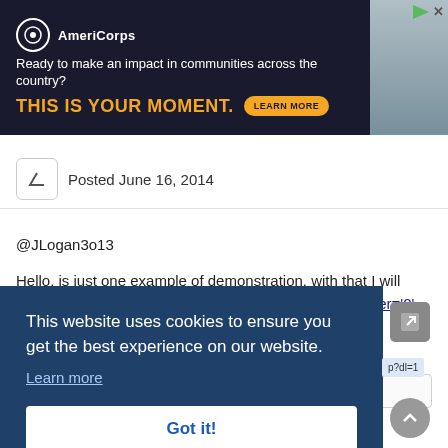[Figure (screenshot): AmeriCorps advertisement banner with dark background. Logo and text: 'Ready to make an impact in communities across the country? THIS IS YOUR MOMENT.' with a LEARN MORE button. Photo of people on the right side.]
Posted June 16, 2014
@JLogan3o13
Hello, is just one example of demonstration, with that I will improve the look of my project '?do=embed' frameborder='0' data-embedContent>>
This website uses cookies to ensure you get the best experience on our website.
Learn more
Got it!